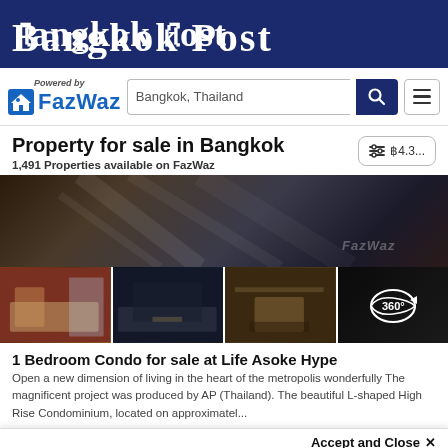Bangkok Post
[Figure (screenshot): FazWaz navigation bar with search field showing 'Bangkok, Thailand', search button, and hamburger menu]
Property for sale in Bangkok
1,491 Properties available on FazWaz
[Figure (photo): Property listing gallery showing a luxury condo interior: wide top banner image of dark modern interior, and four thumbnail images below including bedroom, living room, dining area, and 360-degree view icon]
1 Bedroom Condo for sale at Life Asoke Hype
Open a new dimension of living in the heart of the metropolis wonderfully The magnificent project was produced by AP (Thailand). The beautiful L-shaped High Rise Condominium, located on approximatel...
Accept and Close ✕
Your browser settings do not allow cross-site tracking for advertising. Click on this page to allow AdRoll to use cross-site tracking to tailor ads to you. Learn more or opt out of this AdRoll tracking by clicking here. This message only appears once.